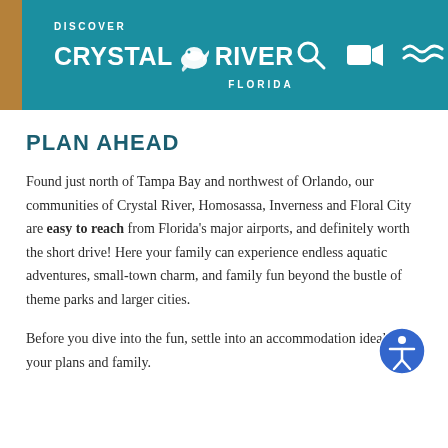DISCOVER CRYSTAL RIVER FLORIDA
PLAN AHEAD
Found just north of Tampa Bay and northwest of Orlando, our communities of Crystal River, Homosassa, Inverness and Floral City are easy to reach from Florida's major airports, and definitely worth the short drive! Here your family can experience endless aquatic adventures, small-town charm, and family fun beyond the bustle of theme parks and larger cities.
Before you dive into the fun, settle into an accommodation ideal for your plans and family.